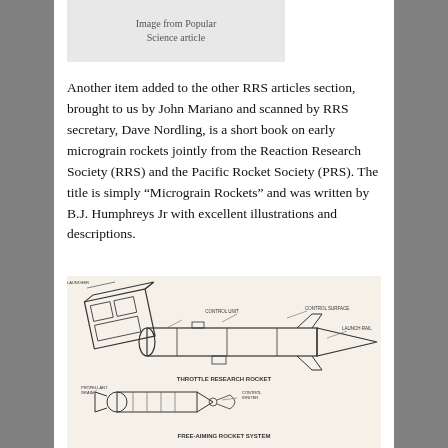[Figure (other): Partial image placeholder with text 'Image from Popular Science article' on gray background]
Another item added to the other RRS articles section, brought to us by John Mariano and scanned by RRS secretary, Dave Nordling, is a short book on early micrograin rockets jointly from the Reaction Research Society (RRS) and the Pacific Rocket Society (PRS). The title is simply “Micrograin Rockets” and was written by B.J. Humphreys Jr with excellent illustrations and descriptions.
[Figure (engineering-diagram): Technical exploded diagram of micrograin rocket components showing launcher mechanism and rocket body with labeled parts. Shows 'Throttle Research Rocket' and 'Free-Aiming Rocket System' with numerous callout labels pointing to components.]